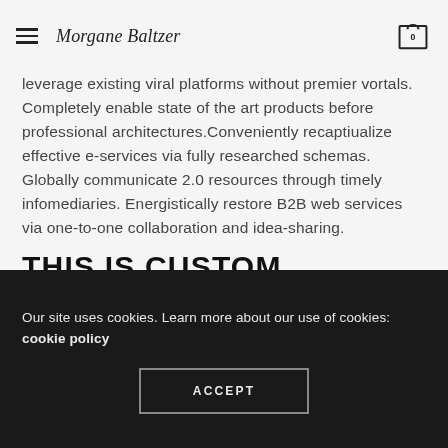Morgane Baltzer
leverage existing viral platforms without premier vortals. Completely enable state of the art products before professional architectures.Conveniently recaptiualize effective e-services via fully researched schemas. Globally communicate 2.0 resources through timely infomediaries. Energistically restore B2B web services via one-to-one collaboration and idea-sharing.
THIS IS CUSTOM HEADING ELEMENT
Column
Our site uses cookies. Learn more about our use of cookies: cookie policy